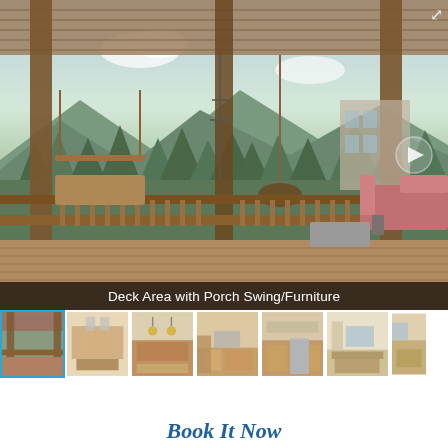[Figure (photo): Main photo of a covered deck area with porch swing and outdoor furniture, mountain/forest view in background, wooden railing, with expand icon and play button overlay]
Deck Area with Porch Swing/Furniture
[Figure (photo): Thumbnail strip of 7 property interior/exterior photos: deck view, kitchen with island, kitchen with pendant lights, kitchen from another angle, kitchen with stainless appliances, dining/living area, partial view]
Virtual Tour
Book It Now